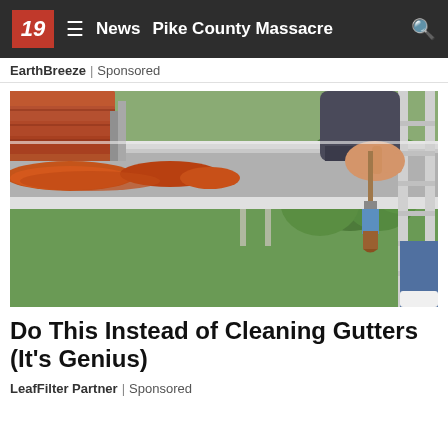19  ≡  News  Pike County Massacre  🔍
EarthBreeze | Sponsored
[Figure (photo): A person on a ladder using a paintbrush to apply sealant inside a roof gutter. Orange sealant visible in gutter trough, orange/terracotta roof tiles on left, green lawn and trees visible in background on the right.]
Do This Instead of Cleaning Gutters (It's Genius)
LeafFilter Partner | Sponsored